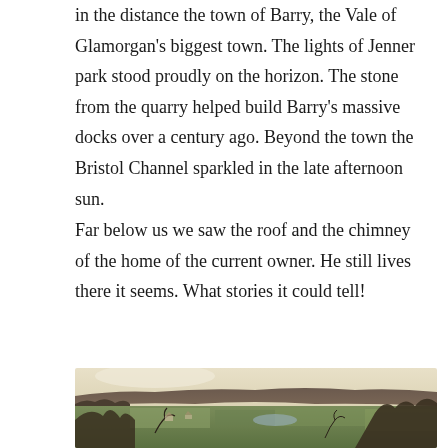in the distance the town of Barry, the Vale of Glamorgan's biggest town. The lights of Jenner park stood proudly on the horizon. The stone from the quarry helped build Barry's massive docks over a century ago. Beyond the town the Bristol Channel sparkled in the late afternoon sun.
Far below us we saw the roof and the chimney of the home of the current owner. He still lives there it seems. What stories it could tell!
[Figure (photo): Panoramic countryside landscape photo showing rolling hills and valleys with trees in the foreground, green fields in the middle distance, and a pale sky with light clouds on the horizon.]